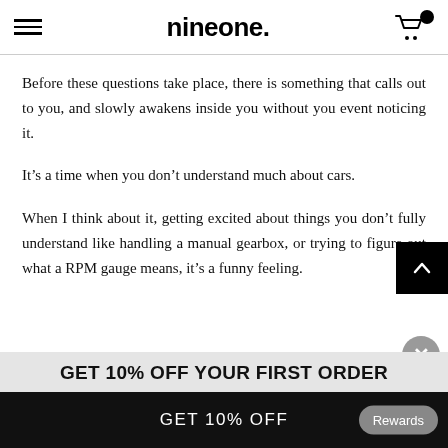nineone.
Before these questions take place, there is something that calls out to you, and slowly awakens inside you without you event noticing it.
It’s a time when you don’t understand much about cars.
When I think about it, getting excited about things you don’t fully understand like handling a manual gearbox, or trying to figure out what a RPM gauge means, it’s a funny feeling.
GET 10% OFF YOUR FIRST ORDER
GET 10% OFF